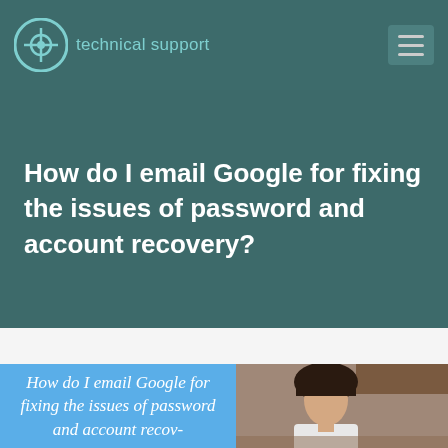technical support
How do I email Google for fixing the issues of password and account recovery?
[Figure (illustration): Composite banner image: left half is a blue panel with italic cursive white text reading 'How do I email Google for fixing the issues of password and account recov-'; right half shows a woman with dark hair sitting at a desk, wearing a white outfit, looking downward, with wooden shelving/furniture in the background.]